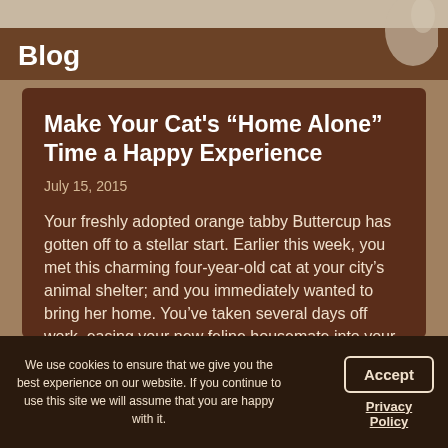Blog
Make Your Cat’s “Home Alone” Time a Happy Experience
July 15, 2015
Your freshly adopted orange tabby Buttercup has gotten off to a stellar start. Earlier this week, you met this charming four-year-old cat at your city’s animal shelter; and you immediately wanted to bring her home. You’ve taken several days off work, easing your new feline housemate into your home’s routine. Now that you’re returning to work, you’d like Buttercup to enjoy her “home alone” hours. Your North Phoenix, AZ
We use cookies to ensure that we give you the best experience on our website. If you continue to use this site we will assume that you are happy with it.